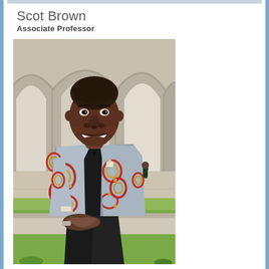Scot Brown
Associate Professor
[Figure (photo): Portrait photo of Scot Brown, an associate professor, sitting outdoors in front of arched stone architecture (a university building). He is wearing a colorful patterned blazer with red, gold, and white African print design over a grey shirt, with black pants. He is smiling and leaning forward with hands clasped. Green grass and blurred background of arched colonnade visible.]